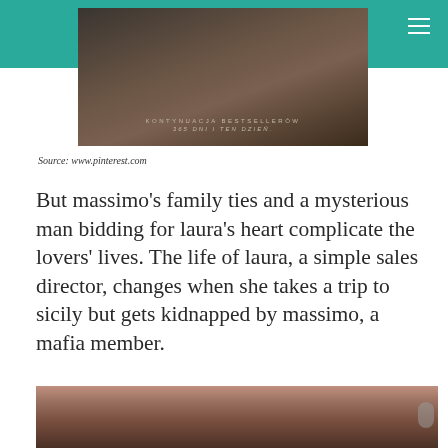[Figure (photo): Book cover image with text 'KONTYNUACJA BESTSELLERÓW 365 DNI I TEN DZIEŃ.' on a dark background]
Source: www.pinterest.com
But massimo's family ties and a mysterious man bidding for laura's heart complicate the lovers' lives. The life of laura, a simple sales director, changes when she takes a trip to sicily but gets kidnapped by massimo, a mafia member.
[Figure (photo): Photo of a couple in an intimate close-up pose]